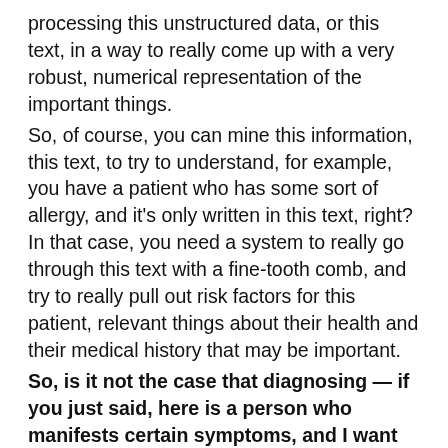processing this unstructured data, or this text, in a way to really come up with a very robust, numerical representation of the important things.
So, of course, you can mine this information, this text, to try to understand, for example, you have a patient who has some sort of allergy, and it's only written in this text, right? In that case, you need a system to really go through this text with a fine-tooth comb, and try to really pull out risk factors for this patient, relevant things about their health and their medical history that may be important.
So, is it not the case that diagnosing — if you just said, here is a person who manifests certain symptoms, and I want to diagnose what they have — may be the hardest problem possible. Especially compared to where we've seen success, which is, like, here is a chest x-ray, we have a very binary question to ask: does this person have a tumor or do they not? Where